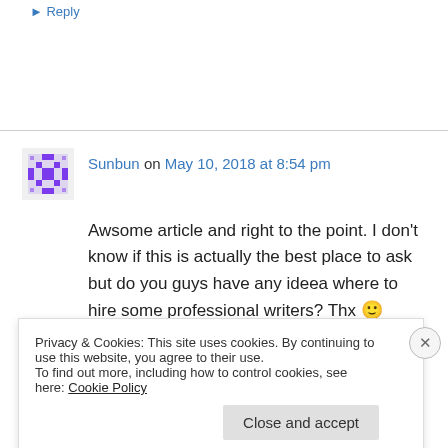▸ Reply
Sunbun on May 10, 2018 at 8:54 pm
Awsome article and right to the point. I don't know if this is actually the best place to ask but do you guys have any ideea where to hire some professional writers? Thx 🙂
Privacy & Cookies: This site uses cookies. By continuing to use this website, you agree to their use.
To find out more, including how to control cookies, see here: Cookie Policy
Close and accept